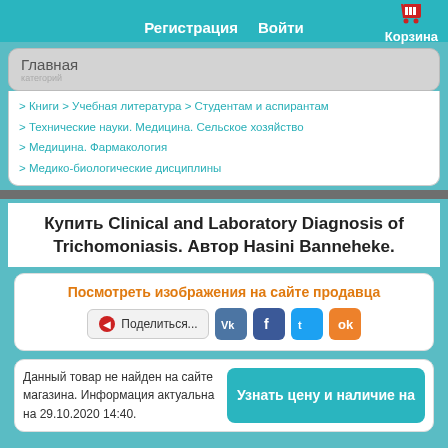Корзина  Регистрация  Войти
Главная
> Книги > Учебная литература > Студентам и аспирантам
> Технические науки. Медицина. Сельское хозяйство
> Медицина. Фармакология
> Медико-биологические дисциплины
Купить Clinical and Laboratory Diagnosis of Trichomoniasis. Автор Hasini Banneheke.
Посмотреть изображения на сайте продавца
Поделиться...
Данный товар не найден на сайте магазина. Информация актуальна на 29.10.2020 14:40.
Узнать цену и наличие на